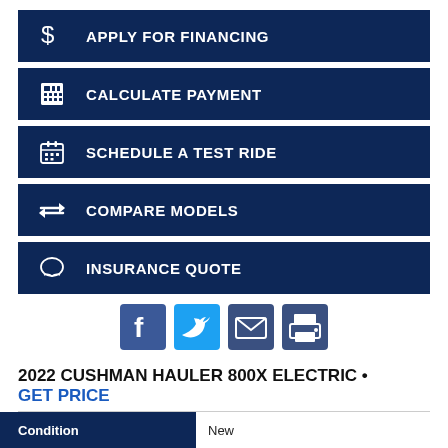APPLY FOR FINANCING
CALCULATE PAYMENT
SCHEDULE A TEST RIDE
COMPARE MODELS
INSURANCE QUOTE
[Figure (infographic): Social sharing icons: Facebook, Twitter, Email, Print]
2022 CUSHMAN HAULER 800X ELECTRIC • GET PRICE
| Condition |  |
| --- | --- |
| Condition | New |